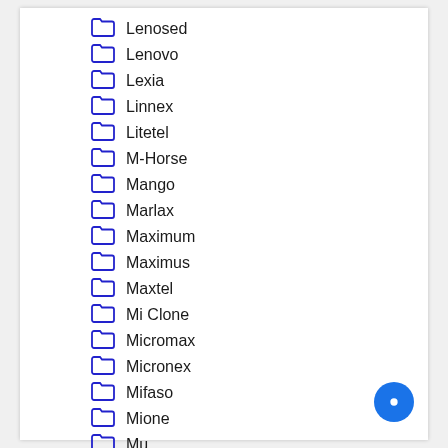Lenosed
Lenovo
Lexia
Linnex
Litetel
M-Horse
Mango
Marlax
Maximum
Maximus
Maxtel
Mi Clone
Micromax
Micronex
Mifaso
Mione
Mu…